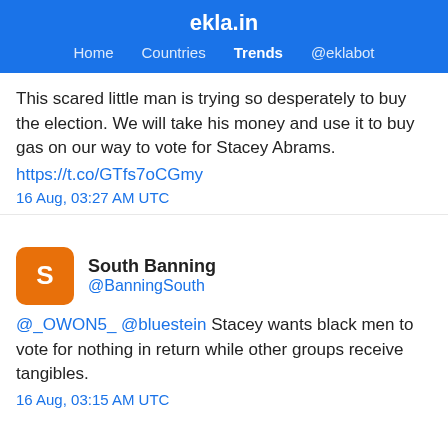ekla.in — Home Countries Trends @eklabot
This scared little man is trying so desperately to buy the election. We will take his money and use it to buy gas on our way to vote for Stacey Abrams.
https://t.co/GTfs7oCGmy
16 Aug, 03:27 AM UTC
South Banning @BanningSouth
@_OWON5_ @bluestein Stacey wants black men to vote for nothing in return while other groups receive tangibles.
16 Aug, 03:15 AM UTC
harry